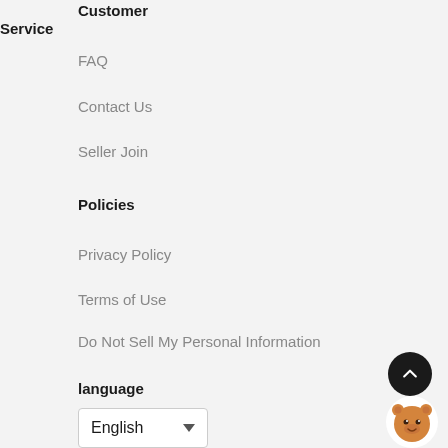Customer Service
FAQ
Contact Us
Seller Join
Policies
Privacy Policy
Terms of Use
Do Not Sell My Personal Information
language
English